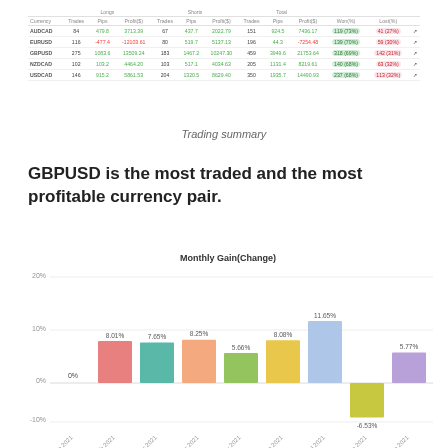| Currency | Trades | Pips | Profit($) | Trades | Pips | Profit($) | Trades | Pips | Profit($) | Won(%) | Lost(%) |  |
| --- | --- | --- | --- | --- | --- | --- | --- | --- | --- | --- | --- | --- |
| AUDCAD | 84 | 479.8 | 3713.39 | 67 | 437.7 | 2022.79 | 151 | 924.5 | 7439.17 | 119 (73%) | 41 (27%) |  |
| EURUSD | 116 | -477.4 | -12103.61 | 80 | 519.7 | 5137.13 | 196 | 44.3 | -7254.48 | 139 (70%) | 59 (30%) |  |
| GBPUSD | 275 | 1083.6 | 13509.24 | 183 | 1467.2 | 10247.30 | 459 | 3949.6 | 21753.64 | 318 (69%) | 142 (31%) |  |
| NZDCAD | 102 | 103.2 | 4464.20 | 103 | 517.1 | 4034.63 | 205 | 1131.4 | 8219.61 | 140 (68%) | 63 (32%) |  |
| USDCAD | 146 | 915.2 | 5861.53 | 204 | 1320.5 | 8629.40 | 350 | 1935.7 | 14490.93 | 237 (68%) | 113 (32%) |  |
Trading summary
GBPUSD is the most traded and the most profitable currency pair.
[Figure (bar-chart): Monthly Gain(Change)]